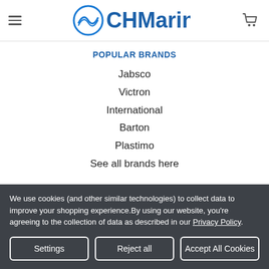CH Marine
POPULAR BRANDS
Jabsco
Victron
International
Barton
Plastimo
See all brands here
CONNECT
We use cookies (and other similar technologies) to collect data to improve your shopping experience.By using our website, you're agreeing to the collection of data as described in our Privacy Policy.